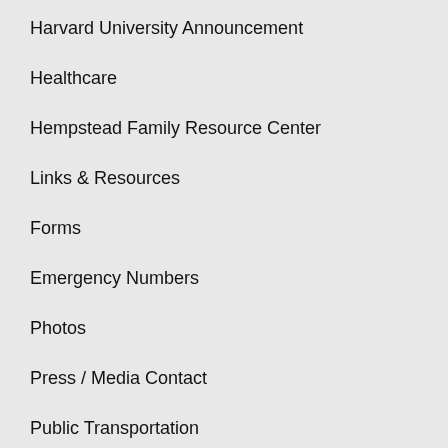Harvard University Announcement
Healthcare
Hempstead Family Resource Center
Links & Resources
Forms
Emergency Numbers
Photos
Press / Media Contact
Public Transportation